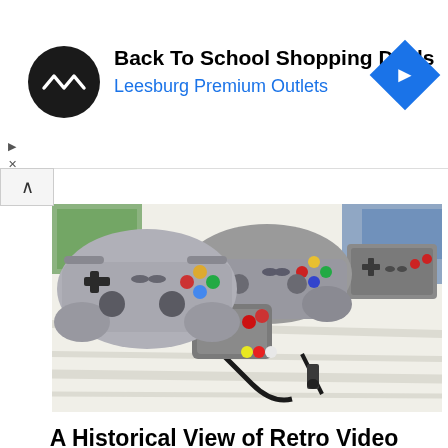[Figure (infographic): Advertisement banner: Back To School Shopping Deals at Leesburg Premium Outlets with logo and navigation icon]
[Figure (photo): Collection of retro video game controllers including PlayStation-style controllers, a small portable controller with red buttons, a SNES-style controller, and an NES-style controller arranged on a white wooden surface]
A Historical View of Retro Video Game Consoles
If you've ever been interested in collecting old video game consoles, you're in for a treat. Old video game consoles are literal treasure troves of fun. There are what